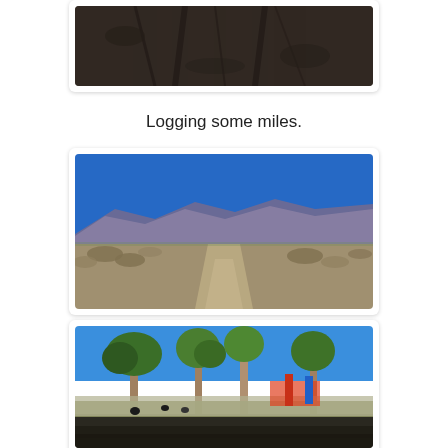[Figure (photo): Partial view of a dirt/rocky terrain landscape from above, top portion cropped]
Logging some miles.
[Figure (photo): Desert landscape with a dirt road leading into the distance, mountains on the horizon under a clear blue sky]
[Figure (photo): Park or outdoor area with trees, playground equipment in the background, some birds on the ground, sunny day with blue sky]